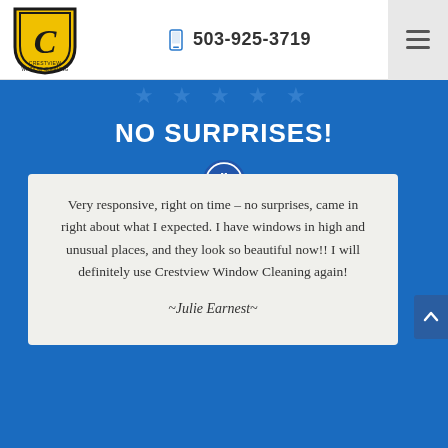[Figure (logo): Crestview Window Cleaning shield logo with yellow/black design and letter C]
503-925-3719
[Figure (other): Hamburger menu icon (three horizontal lines)]
[Figure (other): Five star rating icons reflected]
NO SURPRISES!
[Figure (other): Blue circle with white quotation marks icon]
Very responsive, right on time – no surprises, came in right about what I expected. I have windows in high and unusual places, and they look so beautiful now!! I will definitely use Crestview Window Cleaning again!
~Julie Earnest~